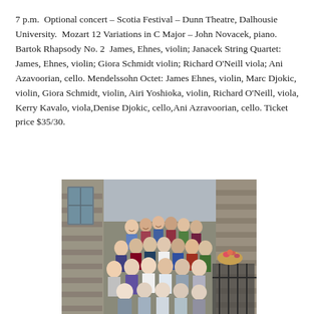7 p.m.  Optional concert – Scotia Festival – Dunn Theatre, Dalhousie University.  Mozart 12 Variations in C Major – John Novacek, piano. Bartok Rhapsody No. 2  James, Ehnes, violin; Janacek String Quartet:  James, Ehnes, violin; Giora Schmidt violin; Richard O'Neill viola; Ani Azavoorian, cello. Mendelssohn Octet: James Ehnes, violin, Marc Djokic, violin, Giora Schmidt, violin, Airi Yoshioka, violin, Richard O'Neill, viola, Kerry Kavalo, viola,Denise Djokic, cello,Ani Azravoorian, cello. Ticket price $35/30.
[Figure (photo): Group photo of approximately 20 people posing outdoors in front of a stone building with a window and iron fence. They appear to be smiling and are arranged in several rows.]